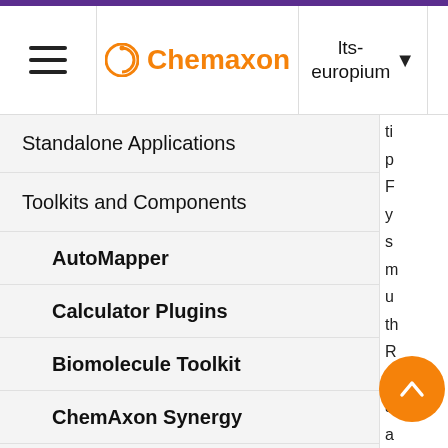Chemaxon — lts-europium
Standalone Applications
Toolkits and Components
AutoMapper
Calculator Plugins
Biomolecule Toolkit
ChemAxon Synergy
Document to Structure
JChem Base
JChem Base Administration